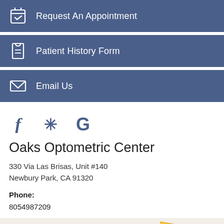Request An Appointment
Patient History Form
Email Us
[Figure (infographic): Social media icons: Facebook (f), Yelp (asterisk/star), Google (G) in dark blue]
Oaks Optometric Center
330 Via Las Brisas, Unit #140
Newbury Park, CA 91320
Phone:
8054987209
[Figure (map): Google Maps partial view showing Camarillo Grove Park, California State University area, Newbury Park, with roads and green areas visible]